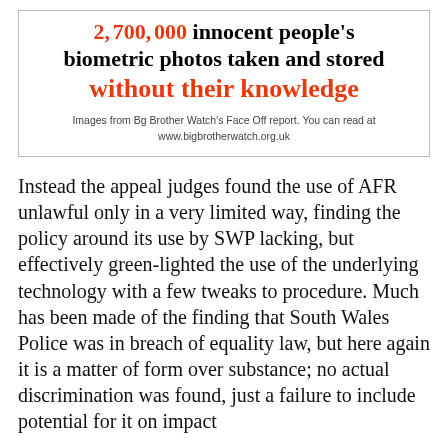[Figure (infographic): Infographic box stating that millions of people had biometric photos taken and stored without their knowledge, with source attribution to Big Brother Watch's Face Off report at www.bigbrotherwatch.org.uk]
Images from Bg Brother Watch's Face Off report. You can read at www.bigbrotherwatch.org.uk
Instead the appeal judges found the use of AFR unlawful only in a very limited way, finding the policy around its use by SWP lacking, but effectively green-lighted the use of the underlying technology with a few tweaks to procedure. Much has been made of the finding that South Wales Police was in breach of equality law, but here again it is a matter of form over substance; no actual discrimination was found, just a failure to include potential for it on impact